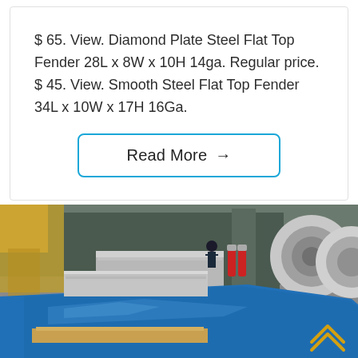$ 65. View. Diamond Plate Steel Flat Top Fender 28L x 8W x 10H 14ga. Regular price. $ 45. View. Smooth Steel Flat Top Fender 34L x 10W x 17H 16Ga.
Read More →
[Figure (photo): Factory interior showing steel coils and blue steel sheets stacked on wooden pallets, with workers and industrial equipment visible in the background. A yellow chevron/up-arrow icon is visible in the bottom right corner.]